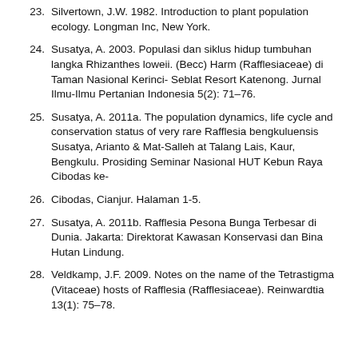23. Silvertown, J.W. 1982. Introduction to plant population ecology. Longman Inc, New York.
24. Susatya, A. 2003. Populasi dan siklus hidup tumbuhan langka Rhizanthes loweii. (Becc) Harm (Rafflesiaceae) di Taman Nasional Kerinci- Seblat Resort Katenong. Jurnal Ilmu-Ilmu Pertanian Indonesia 5(2): 71–76.
25. Susatya, A. 2011a. The population dynamics, life cycle and conservation status of very rare Rafflesia bengkuluensis Susatya, Arianto & Mat-Salleh at Talang Lais, Kaur, Bengkulu. Prosiding Seminar Nasional HUT Kebun Raya Cibodas ke-
26. Cibodas, Cianjur. Halaman 1-5.
27. Susatya, A. 2011b. Rafflesia Pesona Bunga Terbesar di Dunia. Jakarta: Direktorat Kawasan Konservasi dan Bina Hutan Lindung.
28. Veldkamp, J.F. 2009. Notes on the name of the Tetrastigma (Vitaceae) hosts of Rafflesia (Rafflesiaceae). Reinwardtia 13(1): 75–78.